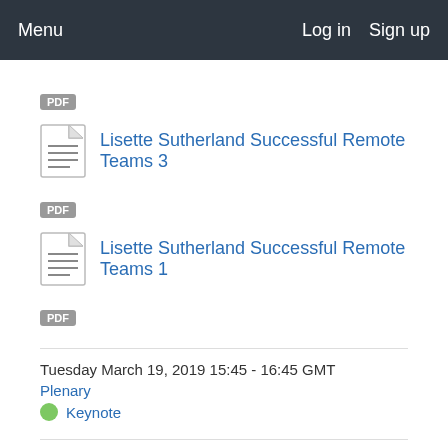Menu   Log in   Sign up
PDF
Lisette Sutherland Successful Remote Teams 3
PDF
Lisette Sutherland Successful Remote Teams 1
PDF
Tuesday March 19, 2019 15:45 - 16:45 GMT
Plenary
Keynote
16:45 GMT